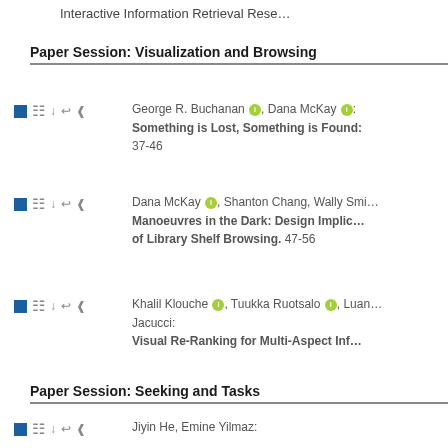Interactive Information Retrieval Rese…
Paper Session: Visualization and Browsing
George R. Buchanan, Dana McKay: Something is Lost, Something is Found: 37-46
Dana McKay, Shanton Chang, Wally Smi…: Manoeuvres in the Dark: Design Implic… of Library Shelf Browsing. 47-56
Khalil Klouche, Tuukka Ruotsalo, Luan… Jacucci: Visual Re-Ranking for Multi-Aspect Inf…
Paper Session: Seeking and Tasks
Jiyin He, Emine Yilmaz: User Behaviour and Task Characteristi… Information Behaviour. 67-76